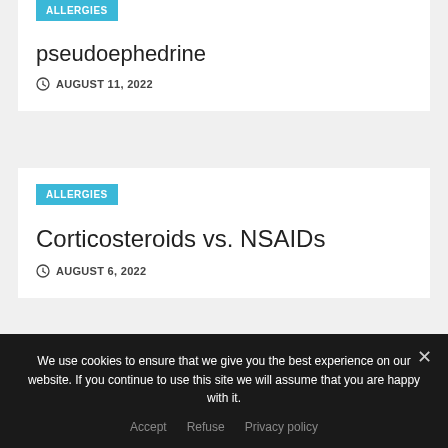ALLERGIES
pseudoephedrine
AUGUST 11, 2022
ALLERGIES
Corticosteroids vs. NSAIDs
AUGUST 6, 2022
ALLERGIES
We use cookies to ensure that we give you the best experience on our website. If you continue to use this site we will assume that you are happy with it.
Accept   Refuse   Privacy policy